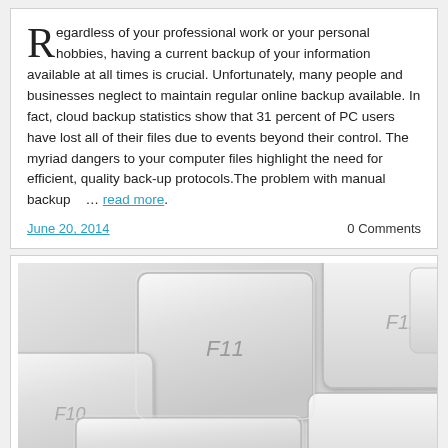Regardless of your professional work or your personal hobbies, having a current backup of your information available at all times is crucial. Unfortunately, many people and businesses neglect to maintain regular online backup available. In fact, cloud backup statistics show that 31 percent of PC users have lost all of their files due to events beyond their control. The myriad dangers to your computer files highlight the need for efficient, quality back-up protocols.The problem with manual backup   … read more.
June 20, 2014    0 Comments
[Figure (photo): Close-up photograph of white/light gray keyboard keys, showing function keys F11 and F12 prominently, with shallow depth of field]